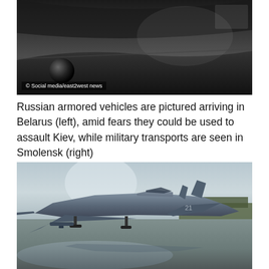[Figure (photo): Dark interior view of armored vehicle, showing dashboard and a black spherical camera/device mounted near the windshield. Copyright watermark reads '© Social media/east2west news'.]
Russian armored vehicles are pictured arriving in Belarus (left), amid fears they could be used to assault Kiev, while military transports are seen in Smolensk (right)
[Figure (photo): Russian military fighter jet (Su-35 or similar) on a wet tarmac runway, with reflection visible in puddle. Overcast sky and trees in background at Smolensk airbase.]